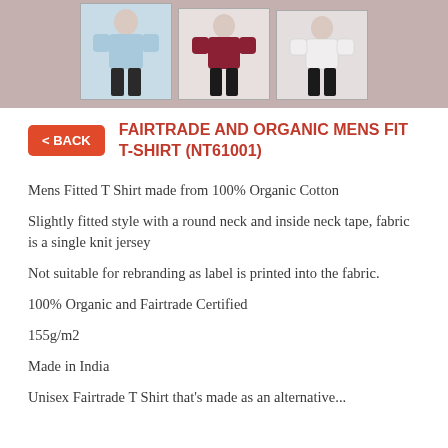[Figure (photo): Header banner with three thumbnail product photos of men wearing t-shirts: light blue, maroon/burgundy, and white versions of the t-shirt]
FAIRTRADE AND ORGANIC MENS FIT T-SHIRT (NT61001)
Mens Fitted T Shirt made from 100% Organic Cotton
Slightly fitted style with a round neck and inside neck tape, fabric is a single knit jersey
Not suitable for rebranding as label is printed into the fabric.
100% Organic and Fairtrade Certified
155g/m2
Made in India
Unisex Fairtrade T Shirt that's made as an alternative...